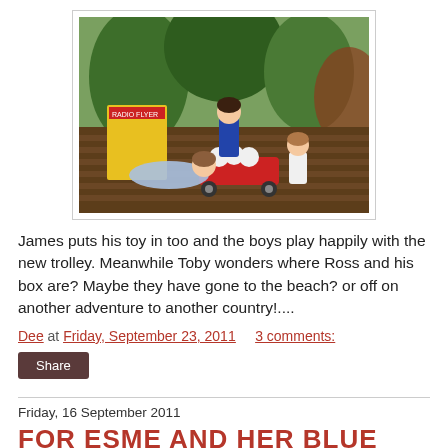[Figure (photo): Three dolls sitting around a small red wagon filled with stuffed animals, outdoors in a garden setting with green plants and a Radio Flyer box visible in the background.]
James puts his toy in too and the boys play happily with the new trolley. Meanwhile Toby wonders where Ross and his box are? Maybe they have gone to the beach? or off on another adventure to another country!....
Dee at Friday, September 23, 2011    3 comments:
Share
Friday, 16 September 2011
FOR ESME AND HER BLUE NOSE...